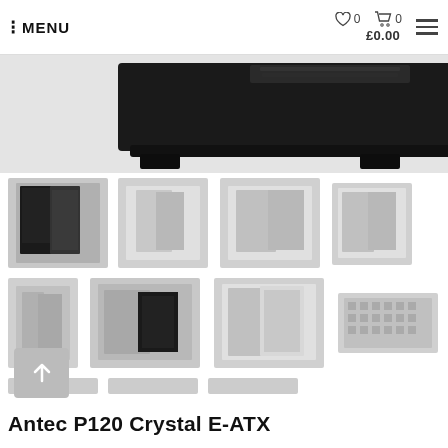MENU | ♡ 0 | 🛒 0 | £0.00
[Figure (photo): Top portion of a black PC computer case (Antec P120 Crystal E-ATX), cropped showing the top/front area of the chassis in black with mesh and vented sections]
[Figure (photo): Grid of thumbnail product images of the Antec P120 Crystal E-ATX PC case from multiple angles: front-left perspective (black), front perspective (light), side open view, rear view, top-down, front panel close-up, open side door, filter panel, and additional angle views]
Antec P120 Crystal E-ATX